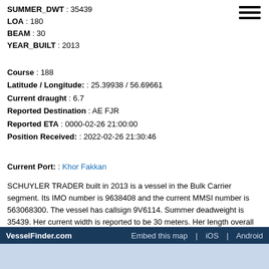SUMMER_DWT : 35439
LOA : 180
BEAM : 30
YEAR_BUILT : 2013
Course : 188
Latitude / Longitude: : 25.39938 / 56.69661
Current draught : 6.7
Reported Destination : AE FJR
Reported ETA : 0000-02-26 21:00:00
Position Received: : 2022-02-26 21:30:46
Current Port: : Khor Fakkan
SCHUYLER TRADER built in 2013 is a vessel in the Bulk Carrier segment. Its IMO number is 9638408 and the current MMSI number is 563068300. The vessel has callsign 9V6114. Summer deadweight is 35439. Her current width is reported to be 30 meters. Her length overall (LOA) is 180 meters. SCHUYLER TRADER is sailing under the flag of Singapore. Latest reported draught is 6.7 meters.
VesselFinder.com   Embed this map  |  iOS  |  Android
[Figure (map): Map area showing scale of 2 nm on a light blue background]